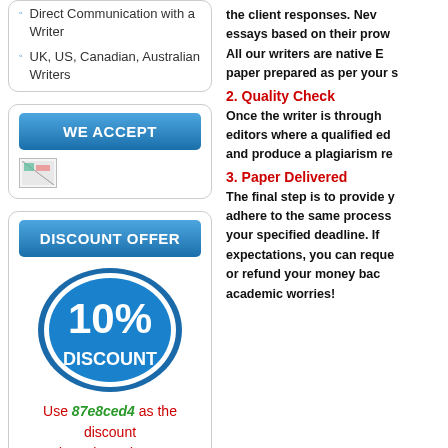Direct Communication with a Writer
UK, US, Canadian, Australian Writers
WE ACCEPT
[Figure (illustration): Payment methods image (broken image placeholder)]
DISCOUNT OFFER
[Figure (illustration): Blue oval badge showing 10% DISCOUNT]
Use 87e8ced4 as the discount code at the order page
the client responses. Nev essays based on their prow All our writers are native E paper prepared as per your s
2. Quality Check
Once the writer is through editors where a qualified ed and produce a plagiarism re
3. Paper Delivered
The final step is to provide y adhere to the same process your specified deadline. If expectations, you can reque or refund your money bac academic worries!